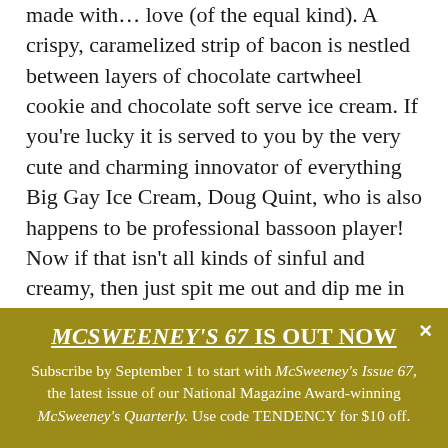made with… love (of the equal kind). A crispy, caramelized strip of bacon is nestled between layers of chocolate cartwheel cookie and chocolate soft serve ice cream. If you're lucky it is served to you by the very cute and charming innovator of everything Big Gay Ice Cream, Doug Quint, who is also happens to be professional bassoon player! Now if that isn't all kinds of sinful and creamy, then just spit me out and dip me in Nutella, another staple Doug uses to line cones at this infamous food truck that also recently
MCSWEENEY'S 67 IS OUT NOW
Subscribe by September 1 to start with McSweeney's Issue 67, the latest issue of our National Magazine Award-winning McSweeney's Quarterly. Use code TENDENCY for $10 off.